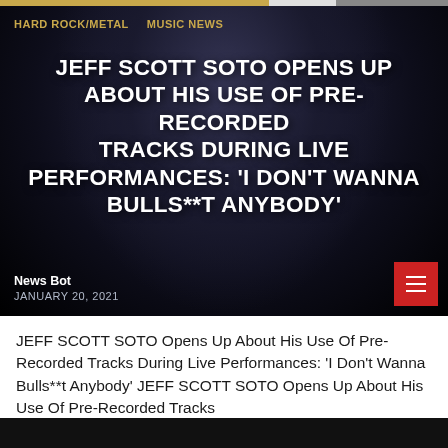HARD ROCK/METAL   MUSIC NEWS
JEFF SCOTT SOTO OPENS UP ABOUT HIS USE OF PRE-RECORDED TRACKS DURING LIVE PERFORMANCES: ‘I DON’T WANNA BULLS**T ANYBODY’
News Bot
JANUARY 20, 2021
[Figure (photo): Dark background photo of Jeff Scott Soto, a man with dark hair wearing a black shirt, shown from the chest up against a dark blue/dark background.]
JEFF SCOTT SOTO Opens Up About His Use Of Pre-Recorded Tracks During Live Performances: ‘I Don’t Wanna Bulls**t Anybody’ JEFF SCOTT SOTO Opens Up About His Use Of Pre-Recorded Tracks